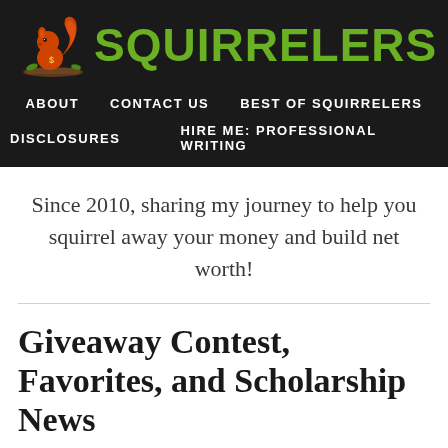[Figure (logo): Squirrelers website logo with orange squirrel on a branch and green SQUIRRELERS text]
ABOUT   CONTACT US   BEST OF SQUIRRELERS   DISCLOSURES   HIRE ME: PROFESSIONAL WRITING
Since 2010, sharing my journey to help you squirrel away your money and build net worth!
Giveaway Contest, Favorites, and Scholarship News